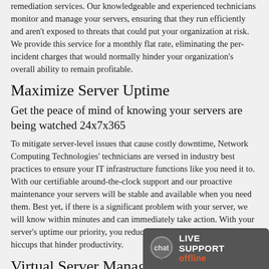remediation services. Our knowledgeable and experienced technicians monitor and manage your servers, ensuring that they run efficiently and aren't exposed to threats that could put your organization at risk. We provide this service for a monthly flat rate, eliminating the per-incident charges that would normally hinder your organization's overall ability to remain profitable.
Maximize Server Uptime
Get the peace of mind of knowing your servers are being watched 24x7x365
To mitigate server-level issues that cause costly downtime, Network Computing Technologies' technicians are versed in industry best practices to ensure your IT infrastructure functions like you need it to. With our certifiable around-the-clock support and our proactive maintenance your servers will be stable and available when you need them. Best yet, if there is a significant problem with your server, we will know within minutes and can immediately take action. With your server's uptime our priority, you reduce any would-be operational hiccups that hinder productivity.
Virtual Server Management
[Figure (other): Live Support offline chat widget with speech bubble icon]